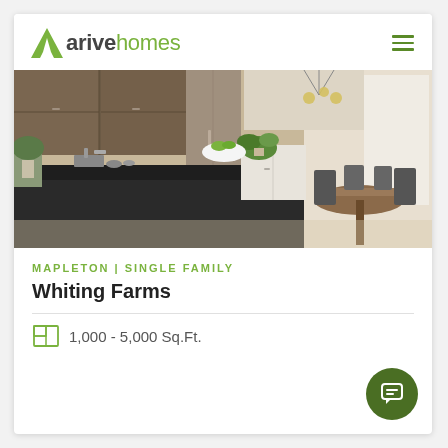[Figure (logo): Arive Homes logo with green triangle/A icon and green/grey wordmark]
[Figure (photo): Interior kitchen photo showing dark island countertop, wooden cabinetry, plants, and dining area with pendant lighting]
MAPLETON | SINGLE FAMILY
Whiting Farms
1,000 - 5,000 Sq.Ft.